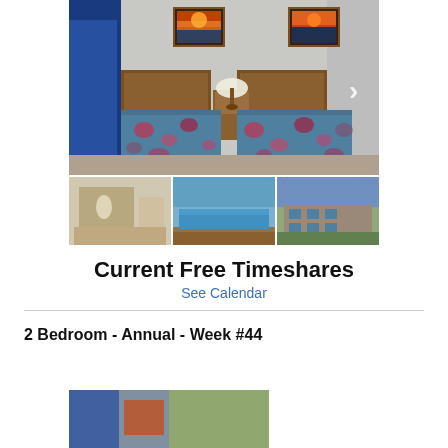[Figure (photo): Main photo of a hotel/timeshare bedroom with two beds with colorful floral bedspreads, wood headboards, a lamp on a nightstand, blue curtains on the left, and two framed sunset paintings on the wall. A navigation arrow (chevron right) is visible on the right side.]
[Figure (photo): Thumbnail strip of three smaller photos: left shows a bedroom interior, center shows a pool area with water and deck, right shows the exterior of a multi-story resort building with balconies.]
Current Free Timeshares
See Calendar
2 Bedroom - Annual - Week #44
[Figure (photo): Partial bottom photo, partially cropped, showing beginning of another property image.]